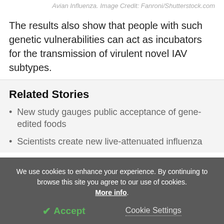Avian Influenza. Image Credit: Fanroni/Shutterstock.com
The results also show that people with such genetic vulnerabilities can act as incubators for the transmission of virulent novel IAV subtypes.
Related Stories
New study gauges public acceptance of gene-edited foods
Scientists create new live-attenuated influenza
We use cookies to enhance your experience. By continuing to browse this site you agree to our use of cookies. More info.